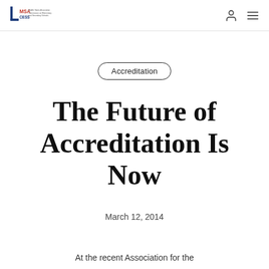MSA CESS — Middle States Association Commission on Elementary and Secondary Schools
Accreditation
The Future of Accreditation Is Now
March 12, 2014
At the recent Association for the